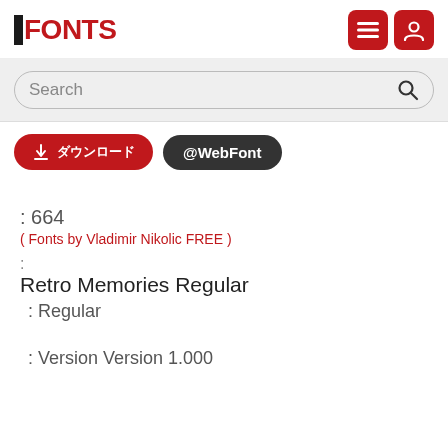FONTS
Search
ダウンロード  @WebFont
: 664
( Fonts by Vladimir Nikolic FREE )
:
Retro Memories Regular
: Regular
: Version Version 1.000